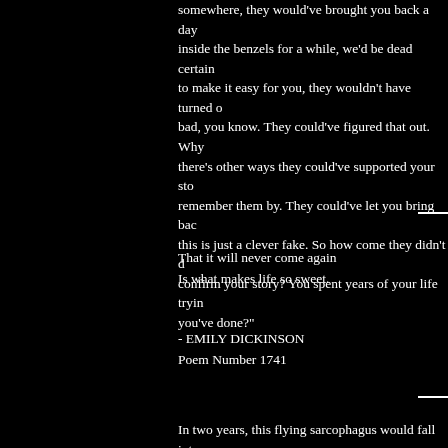somewhere, they would've brought you back a day inside the benzels for a while, we'd be dead certain to make it easy for you, they wouldn't have turned o bad, you know. They could've figured that out. Why there's other ways they could've supported your sto remember them by. They could've let you bring bac this is just a clever fake. So how come they didn't d confirm your story? You spent years of your life tryin you've done?"
That it will never come again
Is what makes life so sweet.
- EMILY DICKINSON
Poem Number 1741
In two years, this flying sarcophagus would fall into outside its radiation belt, be slingshot around the pl For a day he would have a view still more spectacu Methuselah--the roiling multicolored clouds of Jupite of the view. Hadden would have opted for Saturn an Saturn was at least four years from Earth and that